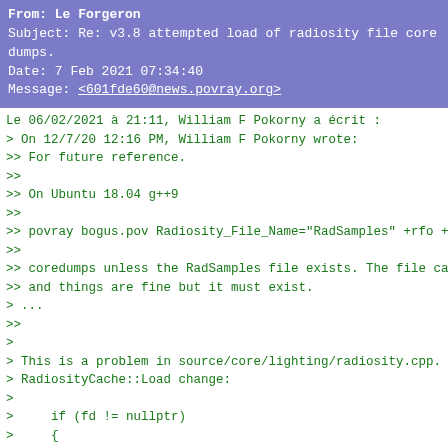From: Le Forgeron
Subject: Re: v3.8 attempted load of radiosity file core dumps.
Date: 7 Feb 2021 07:34:40
Message: <601fde60@news.povray.org>
Le 06/02/2021 à 21:11, William F Pokorny a écrit :
> On 12/7/20 12:16 PM, William F Pokorny wrote:
>> For future reference.
>>
>> On Ubuntu 18.04 g++9
>>
>> povray bogus.pov Radiosity_File_Name="RadSamples" +rfo +r
>>
>> coredumps unless the RadSamples file exists. The file can
>> and things are fine but it must exist.
> ...
>>
>
> This is a problem in source/core/lighting/radiosity.cpp. I
> RadiosityCache::Load change:
>
>     if (fd != nullptr)
>     {
>
> to
>
>     if (*fd)  // Natural is (fd != nullptr), but IStream h
>     {         // of !fd and *fd for testing.
>
> Bill P.

Beware of leakage when opening fails.